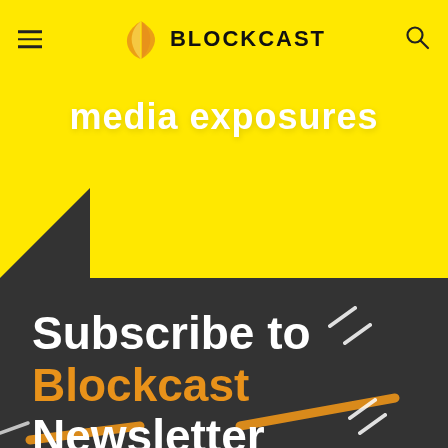BLOCKCAST
media exposures
[Figure (infographic): Subscribe to Blockcast Newsletter promotional banner with dark background and orange/white decorative diagonal lines]